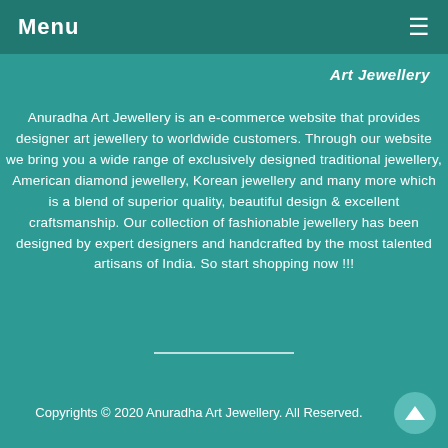Menu ☰
Art Jewellery
Anuradha Art Jewellery is an e-commerce website that provides designer art jewellery to worldwide customers. Through our website we bring you a wide range of exclusively designed traditional jewellery, American diamond jewellery, Korean jewellery and many more which is a blend of superior quality, beautiful design & excellent craftsmanship. Our collection of fashionable jewellery has been designed by expert designers and handcrafted by the most talented artisans of India. So start shopping now !!!
Copyrights © 2020 Anuradha Art Jewellery. All Reserved.